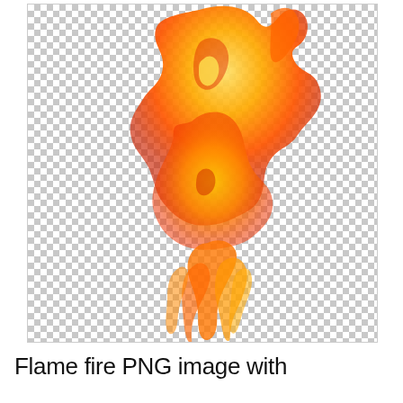[Figure (illustration): A flame fire PNG image shown against a transparent (checkered) background. The flame is orange, red, and yellow, rising vertically with wispy tendrils at the bottom, displayed inside a bordered rectangular box.]
Flame fire PNG image with